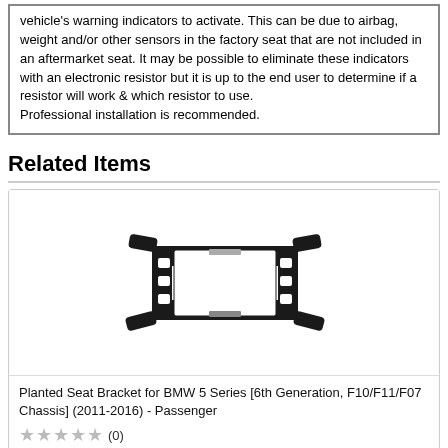vehicle's warning indicators to activate. This can be due to airbag, weight and/or other sensors in the factory seat that are not included in an aftermarket seat. It may be possible to eliminate these indicators with an electronic resistor but it is up to the end user to determine if a resistor will work & which resistor to use. Professional installation is recommended.
Related Items
[Figure (photo): Photo of a Planted Seat Bracket — black metal bracket with mounting tabs for BMW 5 Series]
Planted Seat Bracket for BMW 5 Series [6th Generation, F10/F11/F07 Chassis] (2011-2016) - Passenger
★★★★★ (0)
$185.00